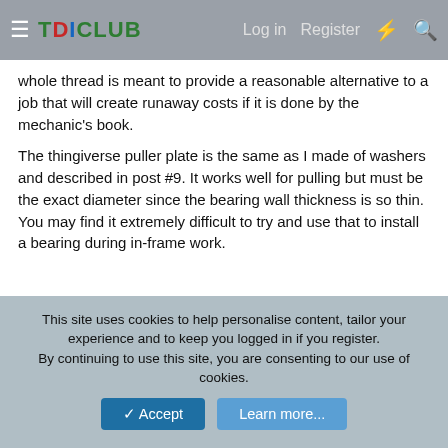TDICLUB — Log in  Register
whole thread is meant to provide a reasonable alternative to a job that will create runaway costs if it is done by the mechanic's book.
The thingiverse puller plate is the same as I made of washers and described in post #9. It works well for pulling but must be the exact diameter since the bearing wall thickness is so thin. You may find it extremely difficult to try and use that to install a bearing during in-frame work.
[Figure (photo): A hand holding a white 3D-printed ring/washer-shaped puller plate with a circular hole in the center, photographed outdoors.]
This site uses cookies to help personalise content, tailor your experience and to keep you logged in if you register.
By continuing to use this site, you are consenting to our use of cookies.